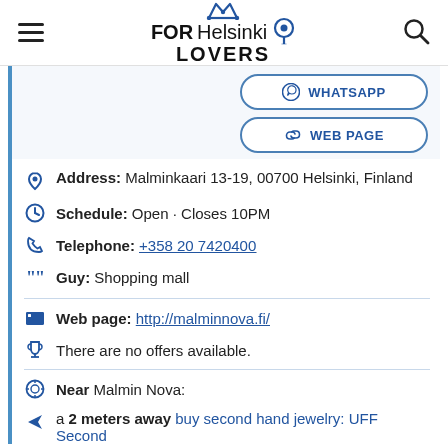FOR Helsinki LOVERS
WHATSAPP
WEB PAGE
Address: Malminkaari 13-19, 00700 Helsinki, Finland
Schedule: Open · Closes 10PM
Telephone: +358 20 7420400
Guy: Shopping mall
Web page: http://malminnova.fi/
There are no offers available.
Near Malmin Nova:
a 2 meters away buy second hand jewelry: UFF Second Hand Helsinki